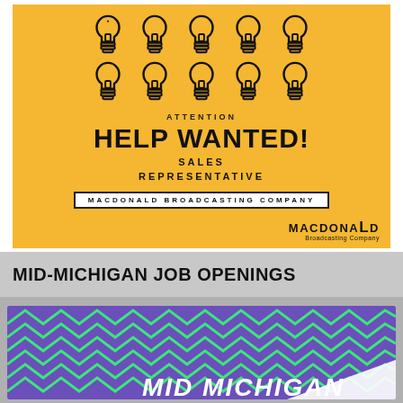[Figure (illustration): Yellow advertisement banner for Macdonald Broadcasting Company showing lightbulb icons and ATTENTION / HELP WANTED! / SALES REPRESENTATIVE text with company logo]
MID-MICHIGAN JOB OPENINGS
[Figure (illustration): Mid Michigan job openings graphic with purple and green zigzag pattern banner and MID MICHIGAN text]